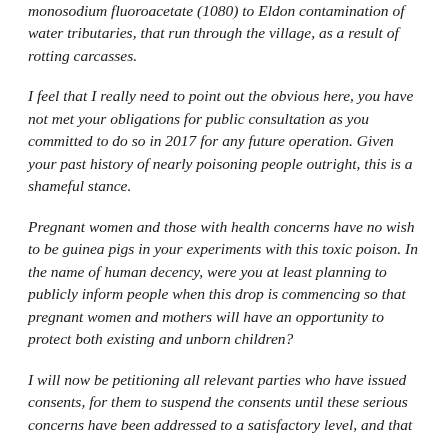monosodium fluoroacetate (1080) to Eldon contamination of water tributaries, that run through the village, as a result of rotting carcasses.
I feel that I really need to point out the obvious here, you have not met your obligations for public consultation as you committed to do so in 2017 for any future operation. Given your past history of nearly poisoning people outright, this is a shameful stance.
Pregnant women and those with health concerns have no wish to be guinea pigs in your experiments with this toxic poison. In the name of human decency, were you at least planning to publicly inform people when this drop is commencing so that pregnant women and mothers will have an opportunity to protect both existing and unborn children?
I will now be petitioning all relevant parties who have issued consents, for them to suspend the consents until these serious concerns have been addressed to a satisfactory level, and that